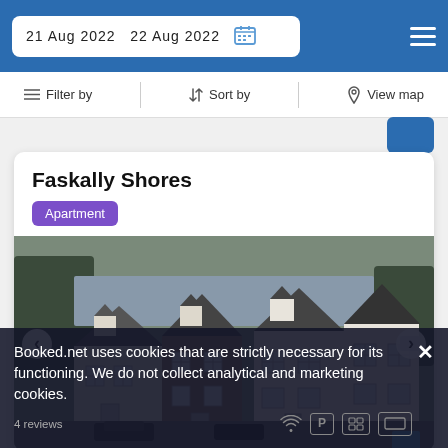21 Aug 2022  22 Aug 2022
Filter by  Sort by  View map
Faskally Shores
Apartment
[Figure (photo): Exterior photo of Faskally Shores showing multiple white Scottish dormer houses with grey slate roofs and a car park in the foreground]
Booked.net uses cookies that are strictly necessary for its functioning. We do not collect analytical and marketing cookies.
4 reviews